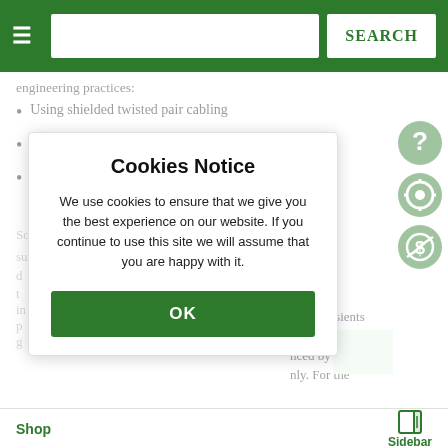SEARCH
engineering practices:
Using shielded twisted pair cabling
Grounding cable shield only at one side
Using the shortest amount of cable possible
Cookies Notice
We use cookies to ensure that we give you the best experience on our website. If you continue to use this site we will assume that you are happy with it.
OK
n. These otection put) that tage transients ften, transient nced by Earth nly. For the
Shop  Sidebar